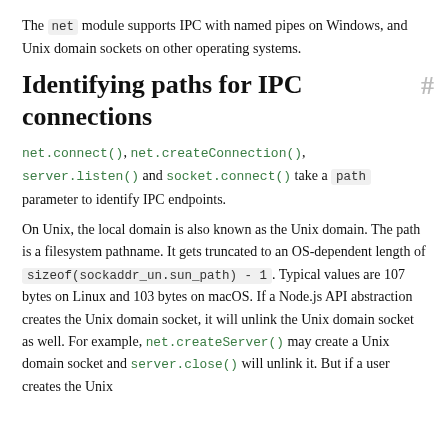The net module supports IPC with named pipes on Windows, and Unix domain sockets on other operating systems.
Identifying paths for IPC connections
net.connect(), net.createConnection(), server.listen() and socket.connect() take a path parameter to identify IPC endpoints.
On Unix, the local domain is also known as the Unix domain. The path is a filesystem pathname. It gets truncated to an OS-dependent length of sizeof(sockaddr_un.sun_path) - 1. Typical values are 107 bytes on Linux and 103 bytes on macOS. If a Node.js API abstraction creates the Unix domain socket, it will unlink the Unix domain socket as well. For example, net.createServer() may create a Unix domain socket and server.close() will unlink it. But if a user creates the Unix domain socket outside of the abstraction, they will...